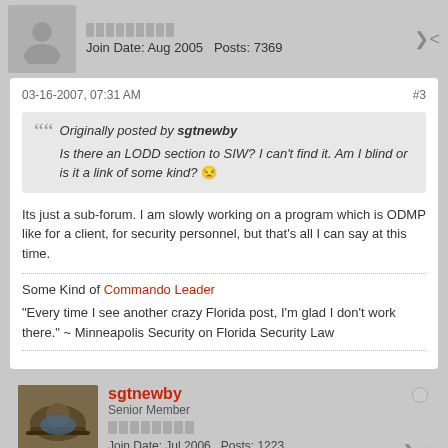Join Date: Aug 2005   Posts: 7369
03-16-2007, 07:31 AM   #3
Originally posted by sgtnewby
Is there an LODD section to SIW? I can't find it. Am I blind or is it a link of some kind? 😒
Its just a sub-forum. I am slowly working on a program which is ODMP like for a client, for security personnel, but that's all I can say at this time.
Some Kind of Commando Leader
"Every time I see another crazy Florida post, I'm glad I don't work there." ~ Minneapolis Security on Florida Security Law
sgtnewby
Senior Member
Join Date: Jul 2006   Posts: 1223